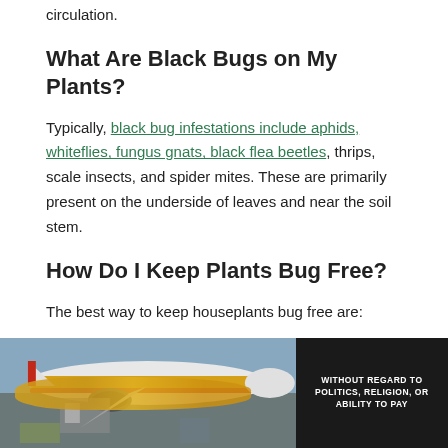circulation.
What Are Black Bugs on My Plants?
Typically, black bug infestations include aphids, whiteflies, fungus gnats, black flea beetles, thrips, scale insects, and spider mites. These are primarily present on the underside of leaves and near the soil stem.
How Do I Keep Plants Bug Free?
The best way to keep houseplants bug free are:
[Figure (photo): Advertisement banner showing an airplane being loaded with cargo (appears to be Southwest Airlines aircraft based on yellow livery) on the tarmac, with a dark panel on the right reading 'WITHOUT REGARD TO POLITICS, RELIGION, OR ABILITY TO PAY']